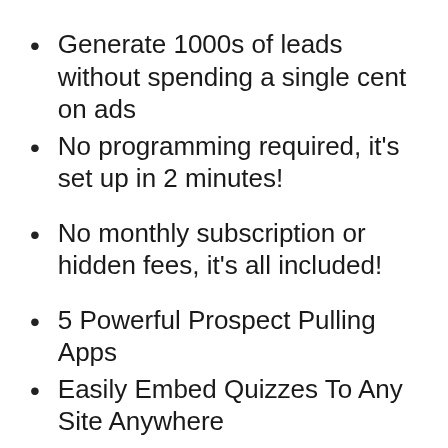Generate 1000s of leads without spending a single cent on ads
No programming required, it's set up in 2 minutes!
No monthly subscription or hidden fees, it's all included!
5 Powerful Prospect Pulling Apps
Easily Embed Quizzes To Any Site Anywhere
Build Affiliate Links Into Buttons For Instant Returns
Manage Leads From Your Easy